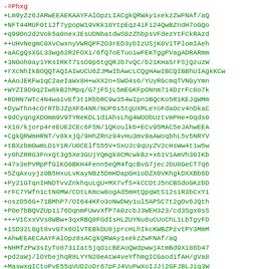-=Phxg
+Lm9yZz6JARwEEAEKAAYFAlOpzLIACgkQRWAy1xekzZwFNAf/aQ
+NFT44MUF0ti2f7ypopW19VKk10YtpEqz4iFi24QwBZndH7oGQo
+q99On2d2Vok5a0nexJEsUDNbatdwS0zZhbpsVFdezYtFCkRAzd
++UHvNegmC0XvCwxnyVWRQPFZO3rED3ybIzUSjK8ViTPlomIAeh
+aACgQsXGL33wg62R2FOXi/6fQ7oETuoiwFEKTggPVagADRARmm
+3NOoh0ay1YKsIRKT71sO9p6tgQRJb7vQC/b21KHaSrFSjQzuzW
+rXcNhIkBOQQTAQIAIwUCU6ZJMwIbAwcLCQgHAwIBCQIBBhUIAgkKCw
+AAoJEKFw1qC2aeIaWx8H+wXX2n+SWO4s6/YUyRGcmqTVNGyYmn
+WYZI9D9q2Iw6kB2hMpq/G7jFSjL5mEGKFpONnm714DzrFc8o7k
+RDHN7WTc4N4wa1vEf3t1RbbRC9w354wIpn3BQcKo5R1KEJqWMm
+DywThn4cOrRTbJZpXF64NR/mUP6s5tgUXMLeYoFdaOcv4nDkaC
+9dCyqngXDOmm9V9TYReKDL1diAhsLhg4WOObUztvmPHe+Oqds0
+X18/kjorp4reEUE2CEc6FSN/1QKoulkb+ECv95MAC5eJAhwEEA
+CgkQRWmHRNT/v8kxjQ/9HhZRnz94vHu3mv9aAWoqbhL5v5NRYV
+tBXzbmOwmLD1Y1R/U0CElfS55V+SxUJc9qUyZV2cHsWw4t1w5w
+y0hZRRG3FnxQt3g5Xe3GUjYQmgk8CMcwkBz+x61V1AmVh30IKb
+47x3ePVMpPfGlKO0BKH4Fenn5eQM4fqcBvG7jecJbU8GeCT7q6
+5ZqAxuyjz0B5HxuLvKayNBz5DmHDapGHioDZX0VKhgkDXXBb6D
+Py21GTqnIHNDTvvZnkhquLgU+MX7vfS+kCCDtJ5nCBSdoGKzbD
+rFC7YWfn1ctN0MW/COtLKmcw8ogAd5mHtQpqWtS12s1R3bCxY1
+oszD56G+71BMhP7/OI644KFo3oNwDWy1ul5APSC7t2gOv6JQth
+POe7bBQVZUp1i76DqnmFUwvXfP7A0zcbJ3WEH323/cd3Sgx0sS
+++V1CxxVVs8WBw+3qxRBQ8FGdIsHLZUYNu6uCUoChL1LbTgyFD
+1SD32L0gt8vvGTx6OlVTEBkDU8jprcHLhIkcKWBZPzvtPY3MmM
+AhwEEAECAAYFAlOpz8sACgkQRWAy1xekzZwFNAf/aQ
+NHMfzPw3sIyTo873iIat5jqOicBEAoQWdpwwjAtmBd9Xi86b47
+pd2aWj/lOYbejhqR8LYYN20eAtW4veYfhmgICGaodifAH/gVa8
+MaswxgICtoPvE55qVUD2oDr67pFJ4VuPwXoIJJj2GFJBLJiq3W
+J2DM5vtKGfZkufCw+l5dSZaOg7MiuizyiUoVJFLi30hi8Zdp0T